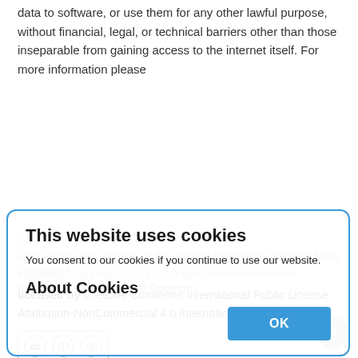data to software, or use them for any other lawful purpose, without financial, legal, or technical barriers other than those inseparable from gaining access to the internet itself. For more information please
[Figure (screenshot): Cookie consent modal dialog with blue border. Title: 'This website uses cookies'. Body text: 'You consent to our cookies if you continue to use our website.' Section: 'About Cookies' with an OK button in blue.]
licensed by Creative Commons International Public License: Attribution-NonCommercial 4.0 International (CC BY-NC 4.0)
[Figure (logo): Creative Commons CC BY-NC badge with CC, person, and no-money icons]